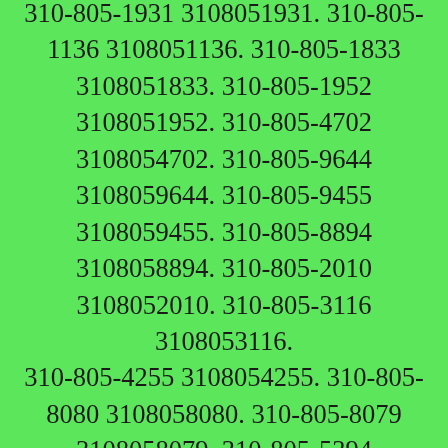310-805-1931 3108051931. 310-805-1136 3108051136. 310-805-1833 3108051833. 310-805-1952 3108051952. 310-805-4702 3108054702. 310-805-9644 3108059644. 310-805-9455 3108059455. 310-805-8894 3108058894. 310-805-2010 3108052010. 310-805-3116 3108053116. 310-805-4255 3108054255. 310-805-8080 3108058080. 310-805-8079 3108058079. 310-805-5394 3108055394. 310-805-3944 3108053944. 310-805-1347 3108051347. 310-805-0829 Caller Name Identify My Caller 3108050829. 310-805-6336 3108056336. 310-805-1187 3108051187. 310-805-3600 3108053600. 310-805-8299 3108058299. 310-805-6732 3108056732. 310-805-8663 3108058663. 310-805-8621 3108058621. 310-805-2107 3108052107. 310-805-6262 3108056262. 310-805-8073 3108058073. 310-805-5058